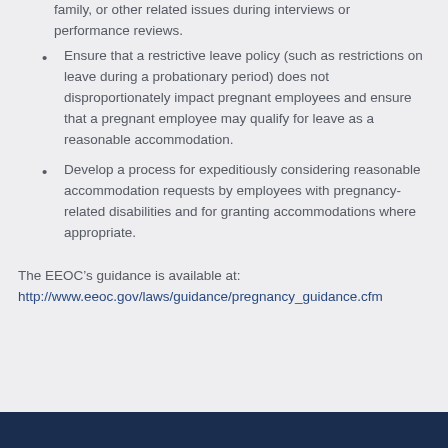family, or other related issues during interviews or performance reviews.
Ensure that a restrictive leave policy (such as restrictions on leave during a probationary period) does not disproportionately impact pregnant employees and ensure that a pregnant employee may qualify for leave as a reasonable accommodation.
Develop a process for expeditiously considering reasonable accommodation requests by employees with pregnancy-related disabilities and for granting accommodations where appropriate.
The EEOC’s guidance is available at: http://www.eeoc.gov/laws/guidance/pregnancy_guidance.cfm